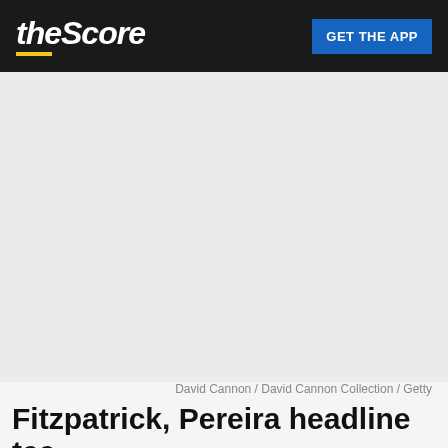theScore | GET THE APP
[Figure (photo): Large blank/light grey image placeholder area representing a sports photo]
David Cannon / David Cannon Collection / Getty
Fitzpatrick, Pereira headline tee